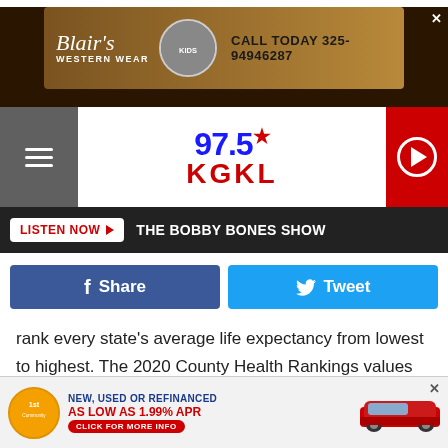[Figure (screenshot): Blair's Western Wear advertisement banner with logo text and phone number CALL TODAY 325-94946287]
[Figure (logo): 97.5 KGKL radio station logo with navigation bar, hamburger menu, and play button]
[Figure (screenshot): LISTEN NOW button with THE BOBBY BONES SHOW text on dark background bar]
[Figure (screenshot): Facebook Share and Twitter Tweet social sharing buttons]
rank every state's average life expectancy from lowest to highest. The 2020 County Health Rankings values were calculated using mortality counts from the 2016-2018 National Center for Health Statistics. The U.S. Census 2019 American Community Survey and America's Health Rankings Senior Report 2019 data were also used to provide demographics on the senior population of each state and the
[Figure (screenshot): 1st Community Federal Credit Union advertisement - NEW, USED OR REFINANCED AS LOW AS 1.99% APR - CLICK FOR MORE INFO with car image]